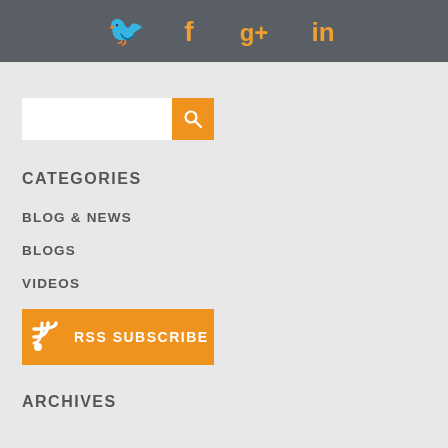[Figure (other): Dark gray header bar with four social media icons (Twitter bird, Facebook f, Google+, LinkedIn) in orange/gold color]
[Figure (other): Search bar with white input field and orange search button with magnifying glass icon]
CATEGORIES
BLOG & NEWS
BLOGS
VIDEOS
[Figure (other): Orange RSS Subscribe button with RSS icon on the left and RSS SUBSCRIBE text in white]
ARCHIVES